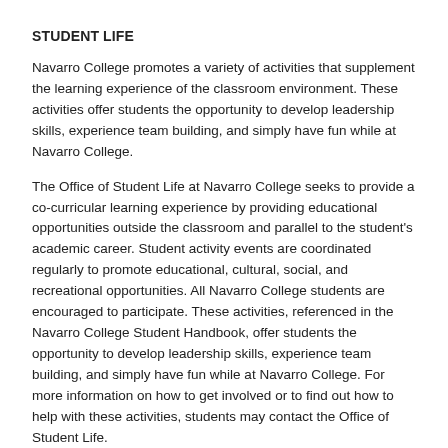STUDENT LIFE
Navarro College promotes a variety of activities that supplement the learning experience of the classroom environment. These activities offer students the opportunity to develop leadership skills, experience team building, and simply have fun while at Navarro College.
The Office of Student Life at Navarro College seeks to provide a co-curricular learning experience by providing educational opportunities outside the classroom and parallel to the student's academic career. Student activity events are coordinated regularly to promote educational, cultural, social, and recreational opportunities. All Navarro College students are encouraged to participate. These activities, referenced in the Navarro College Student Handbook, offer students the opportunity to develop leadership skills, experience team building, and simply have fun while at Navarro College. For more information on how to get involved or to find out how to help with these activities, students may contact the Office of Student Life.
SOCIAL PROGRAMS AND ACTIVITIES
The Office of Student Life, the various student organizations, and the